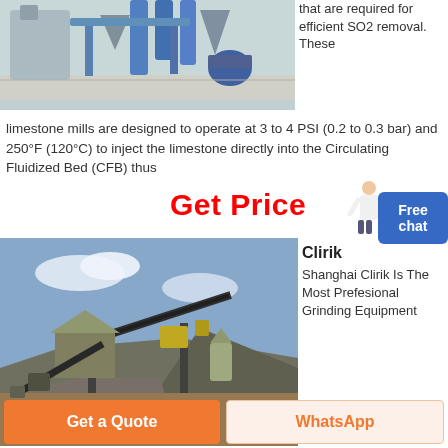[Figure (photo): Industrial limestone mill equipment with pipes and machinery in a facility]
that are required for efficient SO2 removal. These limestone mills are designed to operate at 3 to 4 PSI (0.2 to 0.3 bar) and 250°F (120°C) to inject the limestone directly into the Circulating Fluidized Bed (CFB) thus
[Figure (other): Get Price text in red with person illustration and Free chat button]
[Figure (photo): Outdoor limestone crushing and conveying plant with conveyor belts and aggregate pile]
Clirik
Shanghai Clirik Is The Most Prefesional Grinding Equipment
Get a Quote
WhatsApp